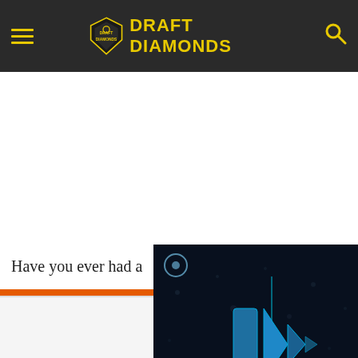Draft Diamonds
Have you ever had a
Help send medical a to Ukraine >>
Yes, I have a coup back home and “T-W
[Figure (screenshot): Video player overlay on dark background with blue geometric arrow/play icons and a mute icon in the lower left corner]